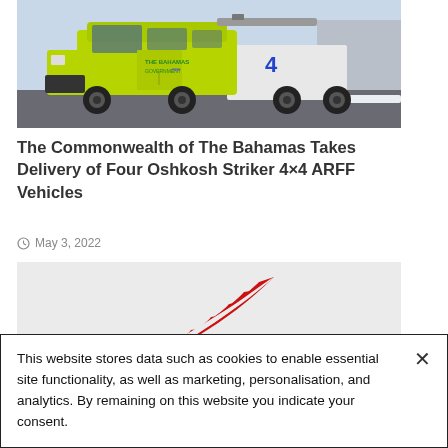[Figure (photo): A lime-green Oshkosh Striker 4x4 ARFF fire truck parked on tarmac, with the number 4 visible on the side, photographed against a cloudy sky.]
The Commonwealth of The Bahamas Takes Delivery of Four Oshkosh Striker 4×4 ARFF Vehicles
May 3, 2022
[Figure (logo): A red stylized wing logo on a light grey background.]
This website stores data such as cookies to enable essential site functionality, as well as marketing, personalisation, and analytics. By remaining on this website you indicate your consent.